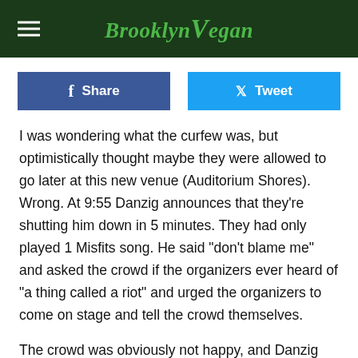BrooklynVegan
Share
Tweet
I was wondering what the curfew was, but optimistically thought maybe they were allowed to go later at this new venue (Auditorium Shores). Wrong. At 9:55 Danzig announces that they're shutting him down in 5 minutes. They had only played 1 Misfits song. He said "don't blame me" and asked the crowd if the organizers ever heard of "a thing called a riot" and urged the organizers to come on stage and tell the crowd themselves.
The crowd was obviously not happy, and Danzig was egging everyone on. By 10:00 we had only heard 2 Misfits songs and the set was over. All power was turned off on the stage.